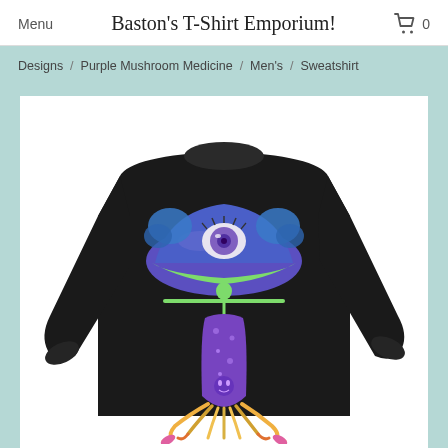Menu   Baston's T-Shirt Emporium!   0
Designs / Purple Mushroom Medicine / Men's / Sweatshirt
[Figure (photo): Black crewneck sweatshirt with a colorful psychedelic mushroom design featuring an all-seeing eye, human figure, and roots, on a white background inside a teal page.]